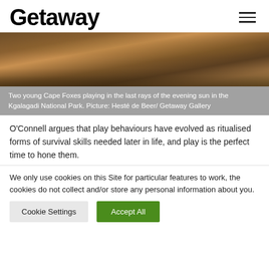Getaway
[Figure (photo): Photo of Cape Foxes playing in dirt/sand ground in the Kgalagadi National Park, warm evening light tones]
Two young Cape Foxes playing in the last rays of the evening sun in the Kgalagadi National Park. Picture: Hesté de Beer/ Getaway Gallery
O'Connell argues that play behaviours have evolved as ritualised forms of survival skills needed later in life, and play is the perfect time to hone them.
We only use cookies on this Site for particular features to work, the cookies do not collect and/or store any personal information about you.